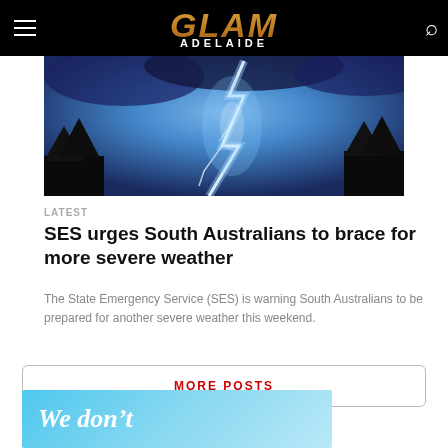GLAM ADELAIDE
[Figure (photo): Lightning strike against dark blue night sky with trees silhouetted in background]
LATEST
SES urges South Australians to brace for more severe weather
The State Emergency Service (SES) is warning South Australians to be prepared for another severe weather this weekend.
MORE POSTS
[Figure (illustration): Light blue banner with white italic text reading 'We don't']